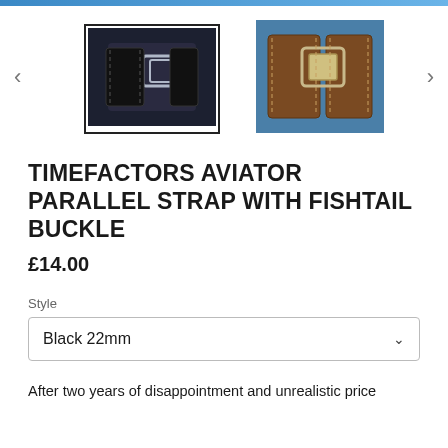[Figure (photo): Two product photos of watch straps with fishtail buckle — left shows black leather strap (selected/highlighted), right shows brown leather strap. Navigation arrows on each side.]
TIMEFACTORS AVIATOR PARALLEL STRAP WITH FISHTAIL BUCKLE
£14.00
Style
Black 22mm
After two years of disappointment and unrealistic price